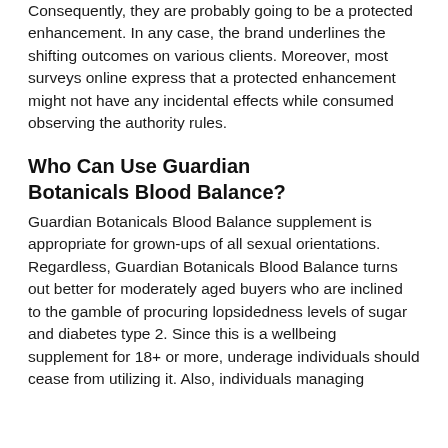Consequently, they are probably going to be a protected enhancement. In any case, the brand underlines the shifting outcomes on various clients. Moreover, most surveys online express that a protected enhancement might not have any incidental effects while consumed observing the authority rules.
Who Can Use Guardian Botanicals Blood Balance?
Guardian Botanicals Blood Balance supplement is appropriate for grown-ups of all sexual orientations. Regardless, Guardian Botanicals Blood Balance turns out better for moderately aged buyers who are inclined to the gamble of procuring lopsidedness levels of sugar and diabetes type 2. Since this is a wellbeing supplement for 18+ or more, underage individuals should cease from utilizing it. Also, individuals managing